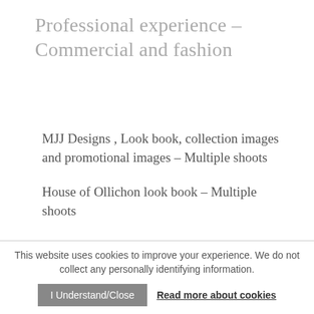Professional experience – Commercial and fashion
MJJ Designs , Look book, collection images and promotional images  – Multiple shoots
House of Ollichon look book – Multiple shoots
Florence shoes Look book and collection – Multiple shoots
Sauce and Brown, Promotional images – Multiple shoots
This website uses cookies to improve your experience. We do not collect any personally identifying information.
I Understand/Close   Read more about cookies